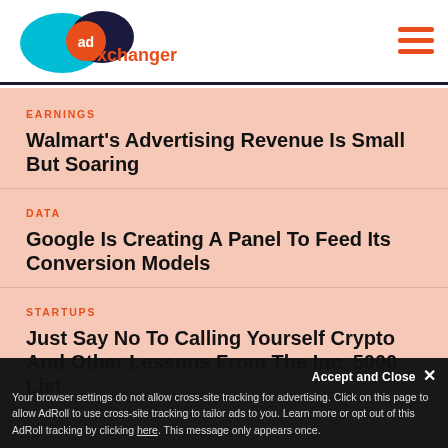AdExchanger logo and navigation
EARNINGS
Walmart's Advertising Revenue Is Small But Soaring
DATA
Google Is Creating A Panel To Feed Its Conversion Models
STARTUPS
Just Say No To Calling Yourself Crypto And Other Lessons From The Inc. 5000 List
Accept and Close ×
Your browser settings do not allow cross-site tracking for advertising. Click on this page to allow AdRoll to use cross-site tracking to tailor ads to you. Learn more or opt out of this AdRoll tracking by clicking here. This message only appears once.